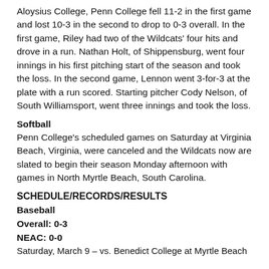Aloysius College, Penn College fell 11-2 in the first game and lost 10-3 in the second to drop to 0-3 overall. In the first game, Riley had two of the Wildcats' four hits and drove in a run. Nathan Holt, of Shippensburg, went four innings in his first pitching start of the season and took the loss. In the second game, Lennon went 3-for-3 at the plate with a run scored. Starting pitcher Cody Nelson, of South Williamsport, went three innings and took the loss.
Softball
Penn College's scheduled games on Saturday at Virginia Beach, Virginia, were canceled and the Wildcats now are slated to begin their season Monday afternoon with games in North Myrtle Beach, South Carolina.
SCHEDULE/RECORDS/RESULTS
Baseball
Overall: 0-3
NEAC: 0-0
Saturday, March 9 – vs. Benedict College at Myrtle Beach